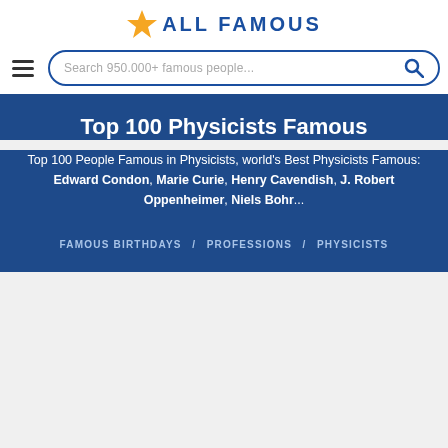★ ALL FAMOUS
Search 950.000+ famous people...
Top 100 Physicists Famous
Top 100 People Famous in Physicists, world's Best Physicists Famous: Edward Condon, Marie Curie, Henry Cavendish, J. Robert Oppenheimer, Niels Bohr...
FAMOUS BIRTHDAYS / PROFESSIONS / PHYSICISTS